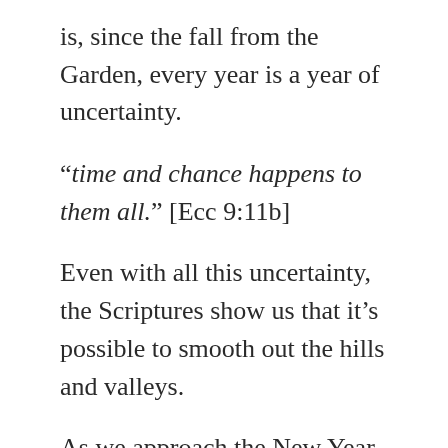is, since the fall from the Garden, every year is a year of uncertainty.
“time and chance happens to them all.” [Ecc 9:11b]
Even with all this uncertainty, the Scriptures show us that it’s possible to smooth out the hills and valleys.
As we approach the New Year, many of us will be setting resolutions for 2022. Before we decide on what weight we want, or financial goals, let us consider what Paul